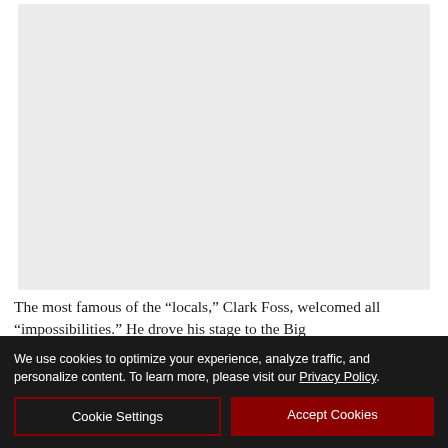[Figure (photo): A light gray rectangular placeholder image area]
The most famous of the “locals,” Clark Foss, welcomed all “impossibilities.” He drove his stage to the Big
We use cookies to optimize your experience, analyze traffic, and personalize content. To learn more, please visit our Privacy Policy.